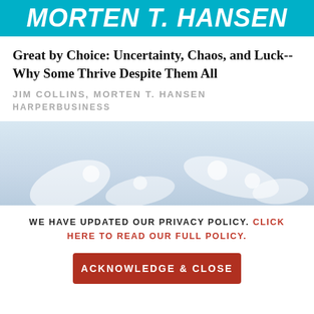Morten T. Hansen
Great by Choice: Uncertainty, Chaos, and Luck--Why Some Thrive Despite Them All
JIM COLLINS, MORTEN T. HANSEN
HARPERBUSINESS
[Figure (infographic): Four red circular social media icons in a row: Twitter, Facebook, LinkedIn, Instagram]
[Figure (photo): Background photo of white earbuds/headphones on a light blue surface]
WE HAVE UPDATED OUR PRIVACY POLICY. CLICK HERE TO READ OUR FULL POLICY.
ACKNOWLEDGE & CLOSE